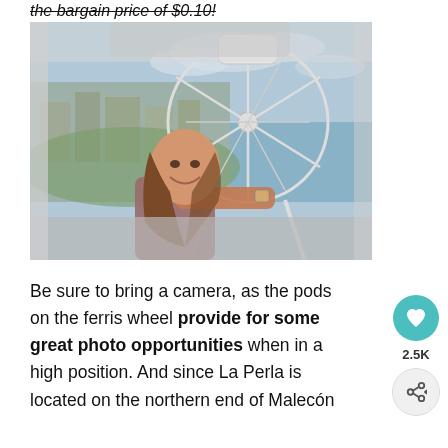the bargain price of $0.10!
[Figure (photo): A woman smiling inside a ferris wheel pod, with the ferris wheel structure and a city waterfront visible in the background through the pod window.]
Be sure to bring a camera, as the pods on the ferris wheel provide for some great photo opportunities when in a high position. And since La Perla is located on the northern end of Malecón